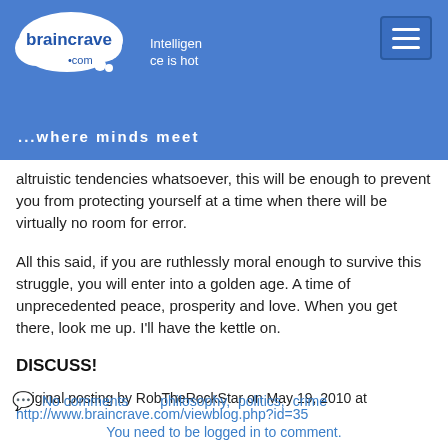[Figure (logo): Braincrave.com logo with cloud shape and tagline 'Intelligence is hot' and '...where minds meet' on a blue header bar]
altruistic tendencies whatsoever, this will be enough to prevent you from protecting yourself at a time when there will be virtually no room for error.
All this said, if you are ruthlessly moral enough to survive this struggle, you will enter into a golden age. A time of unprecedented peace, prosperity and love. When you get there, look me up. I'll have the kettle on.
DISCUSS!
Original posting by RobTheRockStar on May 19, 2010 at http://www.braincrave.com/viewblog.php?id=35
No comments   philosophy,   politics,   crime
You need to be logged in to comment.